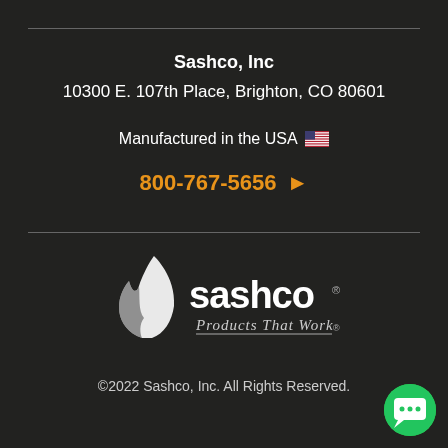Sashco, Inc
10300 E. 107th Place, Brighton, CO 80601
Manufactured in the USA 🇺🇸
800-767-5656
[Figure (logo): Sashco logo with flame/drop icon and tagline 'Products That Work']
©2022 Sashco, Inc. All Rights Reserved.